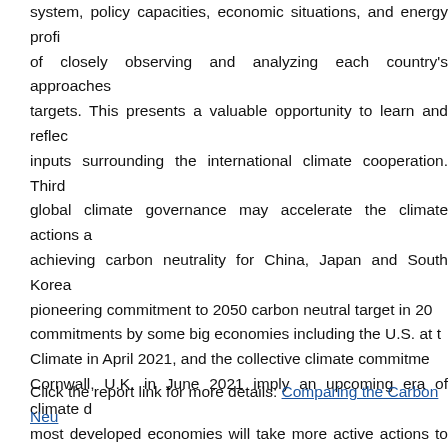system, policy capacities, economic situations, and energy profiles of closely observing and analyzing each country's approaches targets. This presents a valuable opportunity to learn and reflect inputs surrounding the international climate cooperation. Third global climate governance may accelerate the climate actions and achieving carbon neutrality for China, Japan and South Korea pioneering commitment to 2050 carbon neutral target in 20 commitments by some big economies including the U.S. at Climate in April 2021, and the collective climate commitme Cornwall, U.K. in June 2021 imply an upcoming era of climate most developed economies will take more active actions to cut added pressure on other large emitters. Under this new era of may be facilitated by bilateral and multilateral trading policie pressure between the three neighbors and the built-up pres community towards these three countries, particularly Chin determining future climate actions in the region.
Click the report link for more details: Comparing the Carbon Neu